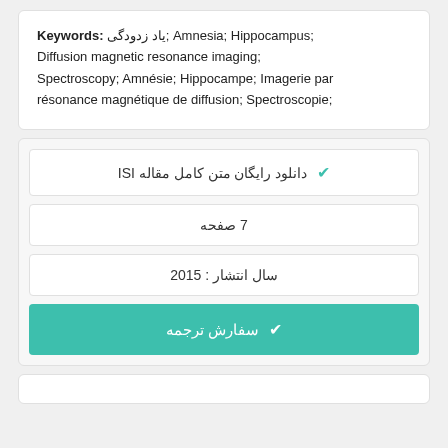Keywords: یاد زدودگی; Amnesia; Hippocampus; Diffusion magnetic resonance imaging; Spectroscopy; Amnésie; Hippocampe; Imagerie par résonance magnétique de diffusion; Spectroscopie;
✔ دانلود رایگان متن کامل مقاله ISI
7 صفحه
سال انتشار : 2015
✔ سفارش ترجمه